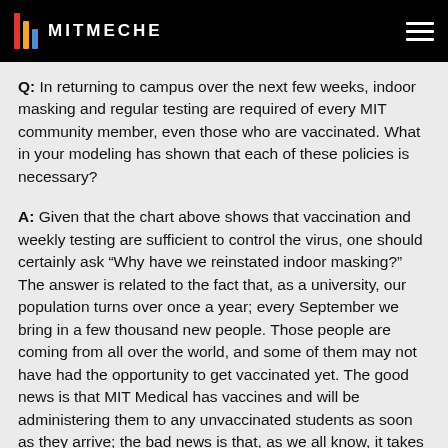MITMECHE
Q: In returning to campus over the next few weeks, indoor masking and regular testing are required of every MIT community member, even those who are vaccinated. What in your modeling has shown that each of these policies is necessary?
A: Given that the chart above shows that vaccination and weekly testing are sufficient to control the virus, one should certainly ask “Why have we reinstated indoor masking?” The answer is related to the fact that, as a university, our population turns over once a year; every September we bring in a few thousand new people. Those people are coming from all over the world, and some of them may not have had the opportunity to get vaccinated yet. The good news is that MIT Medical has vaccines and will be administering them to any unvaccinated students as soon as they arrive; the bad news is that, as we all know, it takes three to five weeks for resistance to build up, depending on the vaccine. This means that we should think of